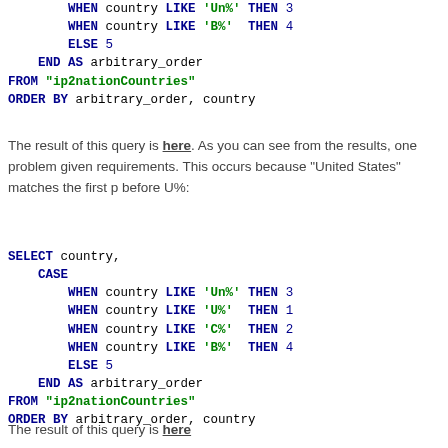WHEN country LIKE 'Un%' THEN 3
        WHEN country LIKE 'B%' THEN 4
        ELSE 5
    END AS arbitrary_order
FROM "ip2nationCountries"
ORDER BY arbitrary_order, country
The result of this query is here. As you can see from the results, one problem given requirements. This occurs because "United States" matches the first p before U%:
SELECT country,
    CASE
        WHEN country LIKE 'Un%' THEN 3
        WHEN country LIKE 'U%' THEN 1
        WHEN country LIKE 'C%' THEN 2
        WHEN country LIKE 'B%' THEN 4
        ELSE 5
    END AS arbitrary_order
FROM "ip2nationCountries"
ORDER BY arbitrary_order, country
The result of this query is here